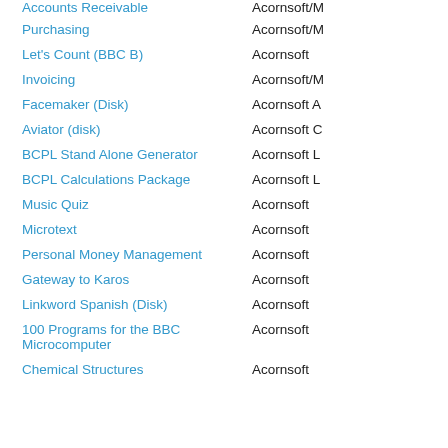Purchasing | Acornsoft/M
Let's Count (BBC B) | Acornsoft
Invoicing | Acornsoft/M
Facemaker (Disk) | Acornsoft A
Aviator (disk) | Acornsoft C
BCPL Stand Alone Generator | Acornsoft L
BCPL Calculations Package | Acornsoft L
Music Quiz | Acornsoft
Microtext | Acornsoft
Personal Money Management | Acornsoft
Gateway to Karos | Acornsoft
Linkword Spanish (Disk) | Acornsoft
100 Programs for the BBC Microcomputer | Acornsoft
Chemical Structures | Acornsoft